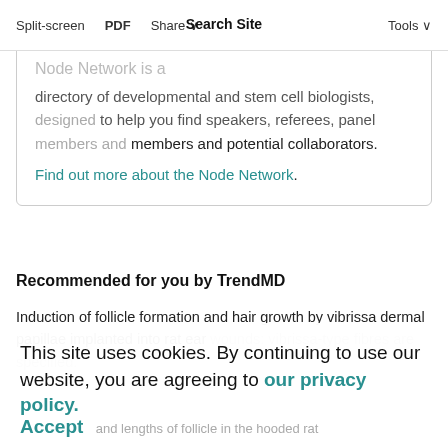Split-screen  PDF  Share  Tools  Search Site
Node Network is a directory of developmental and stem cell biologists, designed to help you find speakers, referees, panel members and potential collaborators. Find out more about the Node Network.
Recommended for you by TrendMD
Induction of follicle formation and hair growth by vibrissa dermal papillae implanted into rat ear wounds: vibrissa-type fibres are specified.
This site uses cookies. By continuing to use our website, you are agreeing to our privacy policy. Accept